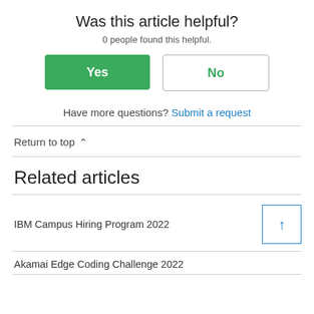Was this article helpful?
0 people found this helpful.
Yes | No
Have more questions? Submit a request
Return to top ∧
Related articles
IBM Campus Hiring Program 2022
Akamai Edge Coding Challenge 2022